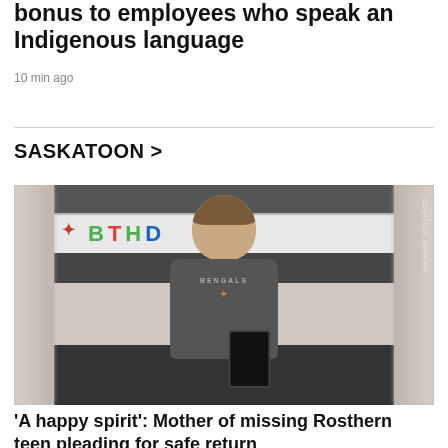bonus to employees who speak an Indigenous language
10 min ago
SASKATOON
[Figure (photo): A boy wearing a grey Bengals t-shirt holding a tablet/device, standing in front of a birthday banner backdrop. Photo credit: COURTESY JENNIFER]
'A happy spirit': Mother of missing Rosthern teen pleading for safe return